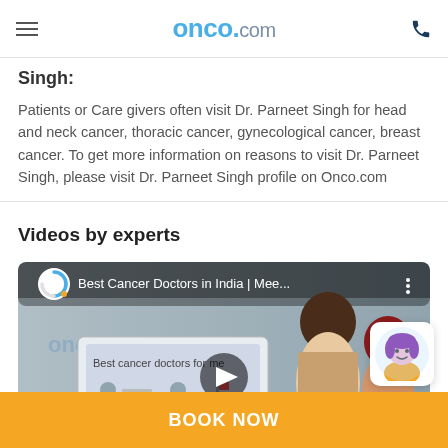onco.com
Singh:
Patients or Care givers often visit Dr. Parneet Singh for head and neck cancer, thoracic cancer, gynecological cancer, breast cancer. To get more information on reasons to visit Dr. Parneet Singh, please visit Dr. Parneet Singh profile on Onco.com
Videos by experts
[Figure (screenshot): Video thumbnail showing 'Best Cancer Doctors in India | Mee...' with a play button overlay, featuring animated characters of doctors and patients with onco.com branding]
BOOK NOW